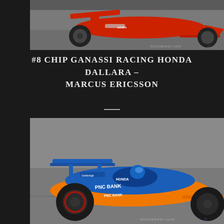[Figure (photo): Close-up top view of a red IndyCar racing car (front wing and nose section) on track, with watermark 'drivnwheel.com']
#8 CHIP GANASSI RACING HONDA DALLARA – MARCUS ERICSSON
[Figure (photo): Blue and orange #8 Chip Ganassi Racing Honda IndyCar driven by Marcus Ericsson on track, with PNC Bank sponsorship livery, watermark 'drivnwheel.com']